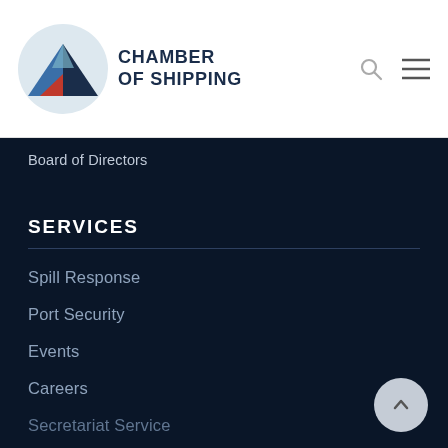[Figure (logo): Chamber of Shipping logo — circular icon with blue/dark blue triangular mountain shapes and a red triangle at the base, with the text CHAMBER OF SHIPPING in bold dark navy]
Chamber of Shipping
Board of Directors
SERVICES
Spill Response
Port Security
Events
Careers
Secretariat Service